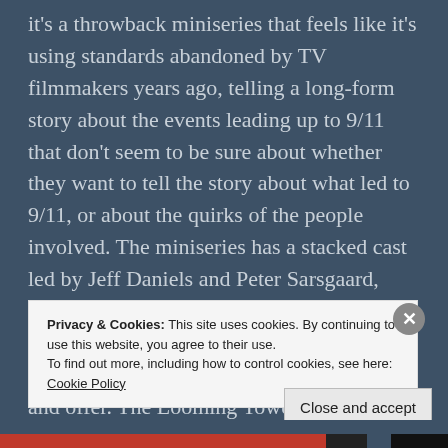it's a throwback miniseries that feels like it's using standards abandoned by TV filmmakers years ago, telling a long-form story about the events leading up to 9/11 that don't seem to be sure about whether they want to tell the story about what led to 9/11, or about the quirks of the people involved. The miniseries has a stacked cast led by Jeff Daniels and Peter Sarsgaard, both of whom act their asses off and bring life to a story that would be hard to tell without the baseline pizzazz that they try and offer. The Looming Tower isn't perfect, but it's probably
Privacy & Cookies: This site uses cookies. By continuing to use this website, you agree to their use.
To find out more, including how to control cookies, see here: Cookie Policy
Close and accept